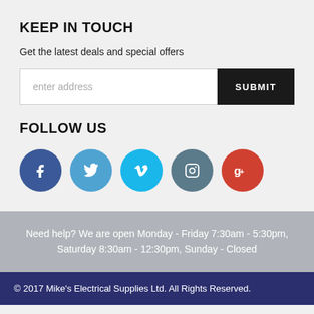KEEP IN TOUCH
Get the latest deals and special offers
[Figure (other): Email input field with placeholder 'enter address' and a dark SUBMIT button]
FOLLOW US
[Figure (infographic): Five social media circular icons: Facebook (dark blue), Twitter (light blue), Vimeo (cyan), Instagram (grey-blue), Google+ (red)]
Need help? We are open Monday - Friday 7:30am - 5:30pm, Saturday 8:30am - 12:30pm, Sunday - Closed
© 2017 Mike's Electrical Supplies Ltd. All Rights Reserved.